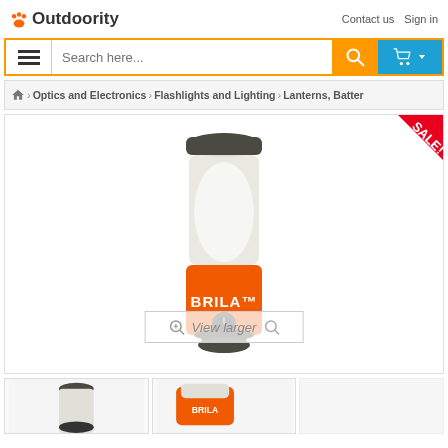Outdoority | Contact us | Sign in
[Figure (screenshot): Search bar with hamburger menu icon, orange search button with magnifying glass, and blue cart button with dropdown]
Optics and Electronics > Flashlights and Lighting > Lanterns, Batter
[Figure (photo): BRILA brand orange and gray LED camping lantern with SALE badge in top right corner and View larger overlay at bottom]
[Figure (photo): Thumbnail images of BRILA lantern at bottom]